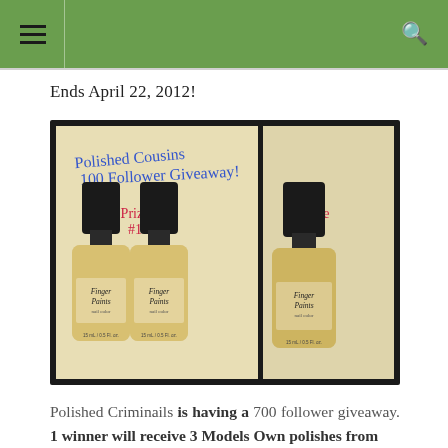Ends April 22, 2012!
[Figure (photo): Photo of three Finger Paints nail polish bottles labeled 'Polished Cousins 100 Follower Giveaway!' with Prize #1 (two bottles) and Prize #2 (one bottle) handwritten in blue and red text.]
Polished Criminails is having a 700 follower giveaway. 1 winner will receive 3 Models Own polishes from